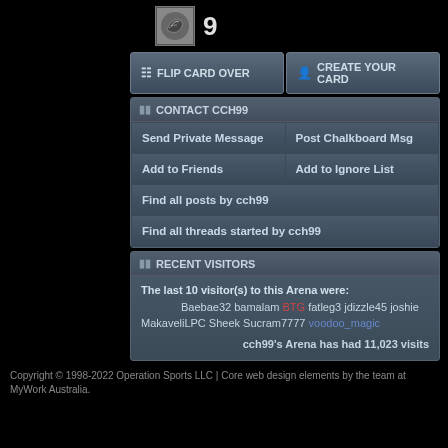[Figure (logo): Philadelphia Eagles logo icon]
9
FLIP CARD OVER
CREATE YOUR CARD
CONTACT CCH99
Send Private Message
Post Chalkboard Msg
Add to Friends
Add to Ignore List
Find all posts by cch99
Find all threads started by cch99
RECENT VISITORS
The last 10 visitor(s) to this Arena were:
Baebae32 bamalam BTG fatleg3 jdizzle45 joshie MakaveliLPC Sheek Sucram7777 voodoo_magic
cch99's Arena has had 11,023 visits
Copyright © 1998-2022 Operation Sports LLC | Core web design elements by the team at MyWork Australia.